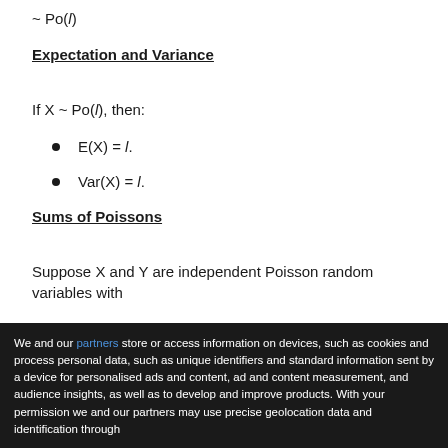~ Po(l)
Expectation and Variance
If X ~ Po(l), then:
E(X) = l.
Var(X) = l.
Sums of Poissons
Suppose X and Y are independent Poisson random variables with
We and our partners store or access information on devices, such as cookies and process personal data, such as unique identifiers and standard information sent by a device for personalised ads and content, ad and content measurement, and audience insights, as well as to develop and improve products. With your permission we and our partners may use precise geolocation data and identification through